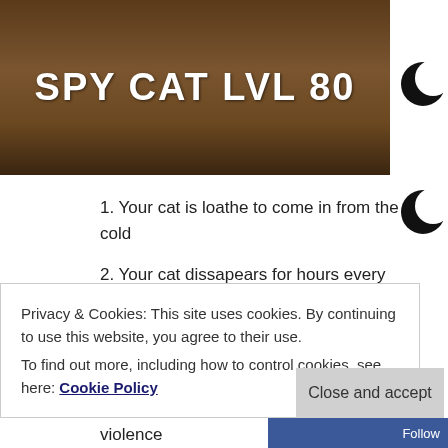[Figure (photo): Brown wooden background banner with bold white text reading SPY CAT LVL 80]
SPY CAT LVL 80
1. Your cat is loathe to come in from the cold
2. Your cat dissapears for hours every day
3. Your cat speaks a language you don’t understand
4. Your cat is capable of random acts of violence
Privacy & Cookies: This site uses cookies. By continuing to use this website, you agree to their use.
To find out more, including how to control cookies, see here: Cookie Policy
Close and accept